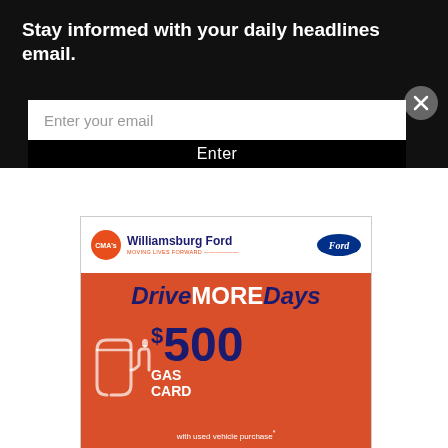Stay informed with your daily headlines email.
Enter your email
Enter
[Figure (infographic): CMA's Williamsburg Ford advertisement with Drive MORE Days promotion offering $500 Gas Card with used vehicle purchase. Features CMA orange circle logo, Williamsburg Ford text, Ford oval logo, orange/red background with gas pump nozzle illustration.]